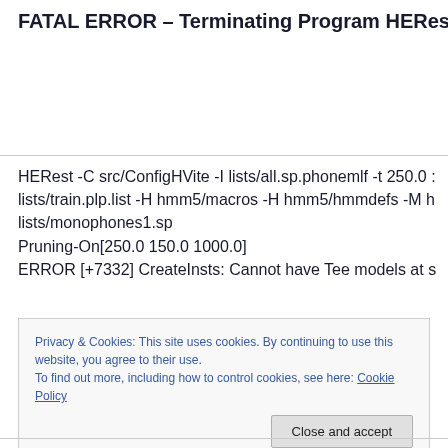FATAL ERROR – Terminating Program HERest
HERest -C src/ConfigHVite -I lists/all.sp.phonemlf -t 250.0 : lists/train.plp.list -H hmm5/macros -H hmm5/hmmdefs -M h lists/monophones1.sp
Pruning-On[250.0 150.0 1000.0]
ERROR [+7332] CreateInsts: Cannot have Tee models at s
Privacy & Cookies: This site uses cookies. By continuing to use this website, you agree to their use.
To find out more, including how to control cookies, see here: Cookie Policy